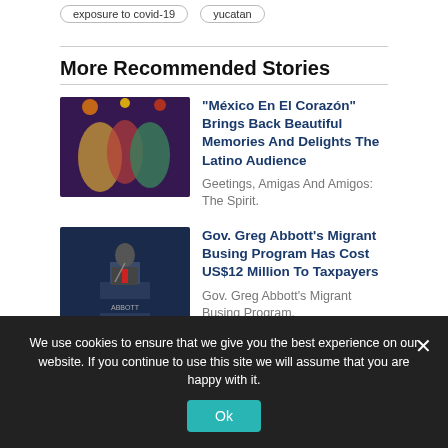exposure to covid-19
yucatan
More Recommended Stories
“México En El Corazón” Brings Back Beautiful Memories And Delights The Latino Audience
Geetings, Amigas And Amigos: The Spirit.
[Figure (photo): Colorful folkloric dancers performing on a stage with colorful lighting]
Gov. Greg Abbott’s Migrant Busing Program Has Cost US$12 Million To Taxpayers
Gov. Greg Abbott’s Migrant Busing Program.
[Figure (photo): Man in suit speaking at a podium with a sign reading ABBOTT]
We use cookies to ensure that we give you the best experience on our website. If you continue to use this site we will assume that you are happy with it.